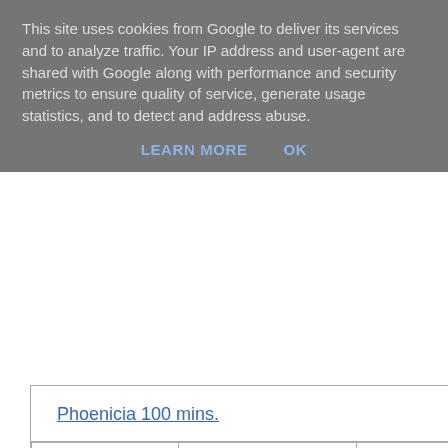This site uses cookies from Google to deliver its services and to analyze traffic. Your IP address and user-agent are shared with Google along with performance and security metrics to ensure quality of service, generate usage statistics, and to detect and address abuse.
LEARN MORE   OK
| Posn. | Player | Score |
| --- | --- | --- |
| 1 | Donald | 35 |
| 2 | Dave C | 33 |
| 3 | Andy | 32 |